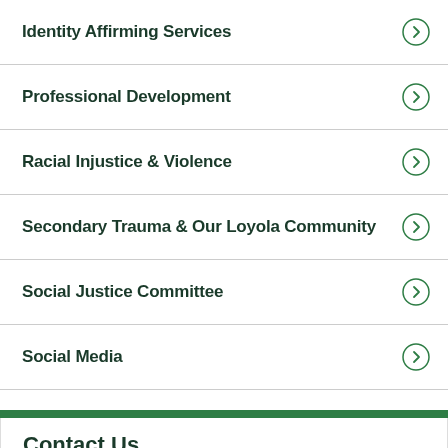Identity Affirming Services
Professional Development
Racial Injustice & Violence
Secondary Trauma & Our Loyola Community
Social Justice Committee
Social Media
Contact Us
Humanities, Room 150